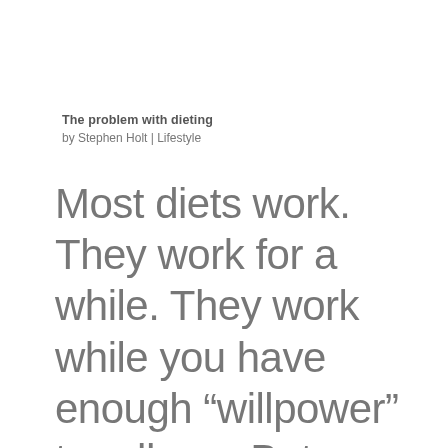The problem with dieting
by Stephen Holt | Lifestyle
Most diets work. They work for a while. They work while you have enough “willpower” to adhere. But you know something about willpower? It’s finite. We can’t rely on it